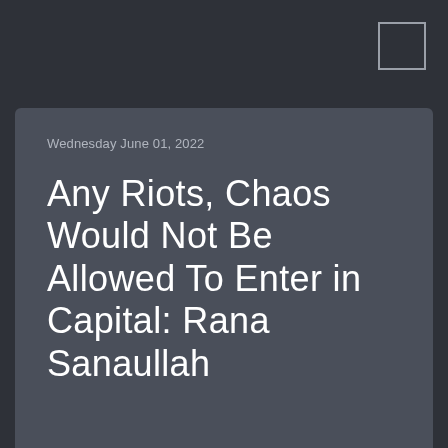Wednesday June 01, 2022
Any Riots, Chaos Would Not Be Allowed To Enter in Capital: Rana Sanaullah